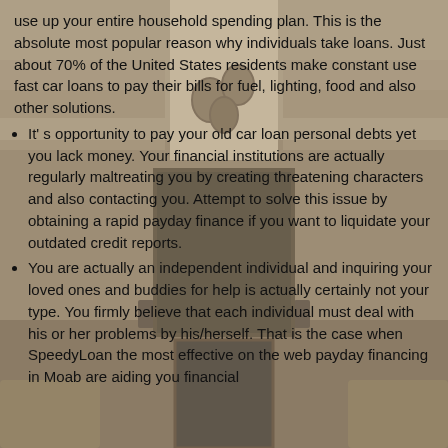[Figure (photo): Background photo of a stone-walled lobby interior with columns, pendant lights, and large entrance doors, in sepia/brown tones.]
use up your entire household spending plan. This is the absolute most popular reason why individuals take loans. Just about 70% of the United States residents make constant use fast car loans to pay their bills for fuel, lighting, food and also other solutions.
It's opportunity to pay your old car loan personal debts yet you lack money. Your financial institutions are actually regularly maltreating you by creating threatening characters and also contacting you. Attempt to solve this issue by obtaining a rapid payday finance if you want to liquidate your outdated credit reports.
You are actually an independent individual and inquiring your loved ones and buddies for help is actually certainly not your type. You firmly believe that each individual must deal with his or her problems by his/herself. That is the case when SpeedyLoan the most effective on the web payday financing in Moab are aiding you financial